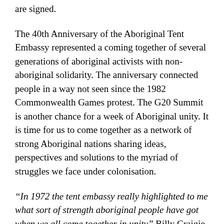are signed.
The 40th Anniversary of the Aboriginal Tent Embassy represented a coming together of several generations of aboriginal activists with non-aboriginal solidarity. The anniversary connected people in a way not seen since the 1982 Commonwealth Games protest. The G20 Summit is another chance for a week of Aboriginal unity. It is time for us to come together as a network of strong Aboriginal nations sharing ideas, perspectives and solutions to the myriad of struggles we face under colonisation.
“In 1972 the tent embassy really highlighted to me what sort of strength aboriginal people have got when we all come together in unity” Billy Craigie Jan 27 1992
Colonisation is not a thing of the past; the colonial